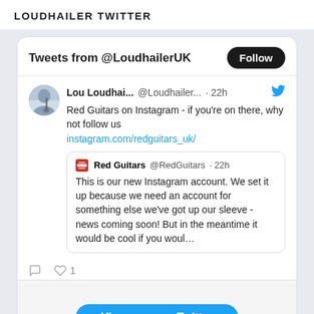LOUDHAILER TWITTER
Tweets from @LoudhailerUK
Lou Loudhai... @Loudhailer... · 22h
Red Guitars on Instagram - if you're on there, why not follow us instagram.com/redguitars_uk/
Red Guitars @RedGuitars · 22h
This is our new Instagram account. We set it up because we need an account for something else we've got up our sleeve - news coming soon! But in the meantime it would be cool if you woul...
♡ 1
View more on Twitter